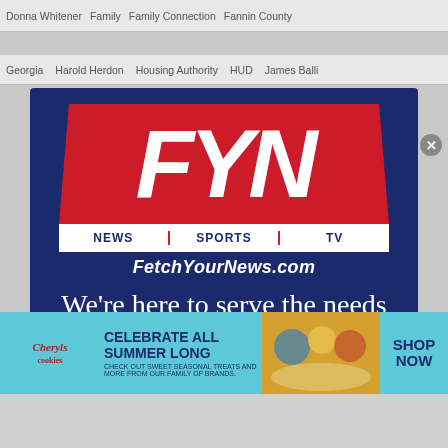Donna Whitener  Family  Family Connection  Fannin County
Georgia  Harold Herdon  Housing Authority  HUD  James Balli
[Figure (logo): FYN (Fetch Your News) logo and advertisement. Dark navy blue background with large red FYN letters, NEWS SPORTS TV bar, FetchYourNews.com URL, and tagline 'We're here to serve the needs of the community'. Sub-text 'You can help in that mission by becoming a']
[Figure (infographic): Cheryl's Cookies advertisement banner. Light blue background with Cheryl's logo, text 'CELEBRATE ALL SUMMER LONG - CHECK OUT SWEET SEASONAL TREATS AND MORE FROM OUR FAMILY OF BRANDS.' with food imagery and 'SHOP NOW' call to action.]